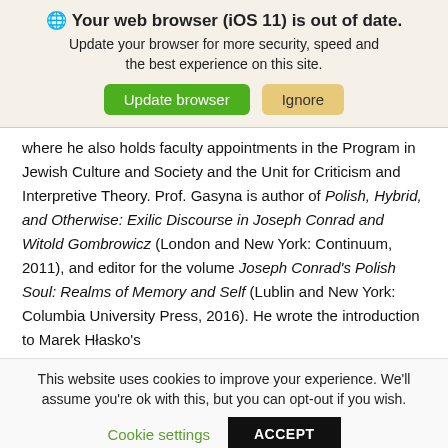🌐 Your web browser (iOS 11) is out of date. Update your browser for more security, speed and the best experience on this site. [Update browser] [Ignore]
where he also holds faculty appointments in the Program in Jewish Culture and Society and the Unit for Criticism and Interpretive Theory. Prof. Gasyna is author of Polish, Hybrid, and Otherwise: Exilic Discourse in Joseph Conrad and Witold Gombrowicz (London and New York: Continuum, 2011), and editor for the volume Joseph Conrad's Polish Soul: Realms of Memory and Self (Lublin and New York: Columbia University Press, 2016). He wrote the introduction to Marek Hłasko's
This website uses cookies to improve your experience. We'll assume you're ok with this, but you can opt-out if you wish. [Cookie settings] [ACCEPT]